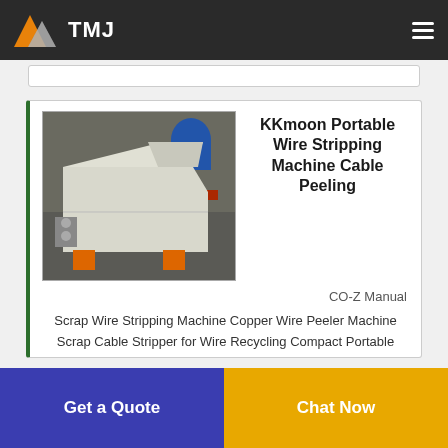TMJ
[Figure (photo): A large industrial wire stripping machine, painted white with orange and red structural components, sitting on an industrial floor.]
KKmoon Portable Wire Stripping Machine Cable Peeling
CO-Z Manual
Scrap Wire Stripping Machine Copper Wire Peeler Machine Scrap Cable Stripper for Wire Recycling Compact Portable Aluminum Alloy Construction 0.06-0.98 inches KKmoon Wire
Get a Quote
Chat Now